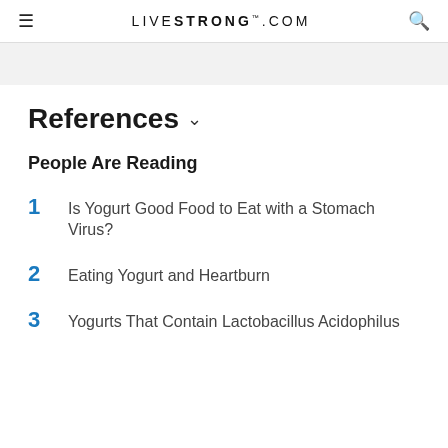LIVESTRONG.COM
References
People Are Reading
1  Is Yogurt Good Food to Eat with a Stomach Virus?
2  Eating Yogurt and Heartburn
3  Yogurts That Contain Lactobacillus Acidophilus